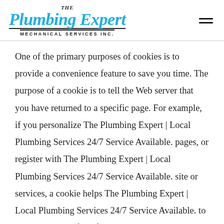[Figure (logo): The Plumbing Expert Mechanical Services Inc. logo in blue italic serif font with black underline and subtitle]
One of the primary purposes of cookies is to provide a convenience feature to save you time. The purpose of a cookie is to tell the Web server that you have returned to a specific page. For example, if you personalize The Plumbing Expert | Local Plumbing Services 24/7 Service Available. pages, or register with The Plumbing Expert | Local Plumbing Services 24/7 Service Available. site or services, a cookie helps The Plumbing Expert | Local Plumbing Services 24/7 Service Available. to recall your specific information on subsequent visits. This simplifies the process of recording your personal information, such as billing addresses, shipping addresses, and so on. When you return to the same The Plumbing Expert | Local Plumbing Services